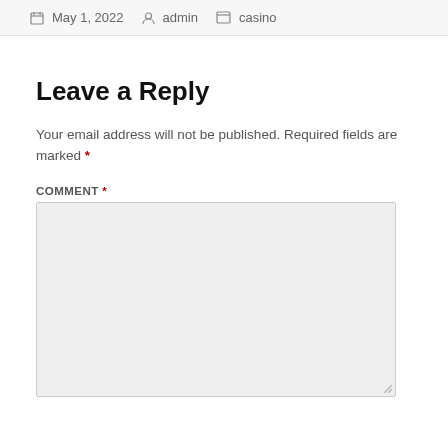May 1, 2022   admin   casino
Leave a Reply
Your email address will not be published. Required fields are marked *
COMMENT *